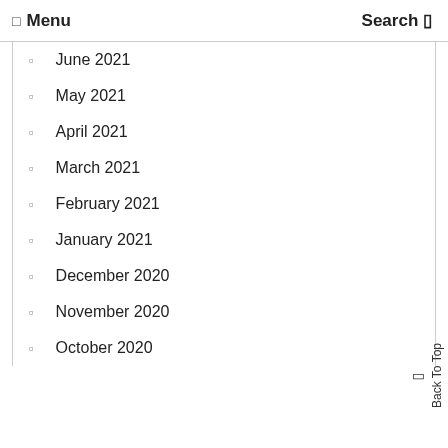Menu  Search
June 2021
May 2021
April 2021
March 2021
February 2021
January 2021
December 2020
November 2020
October 2020